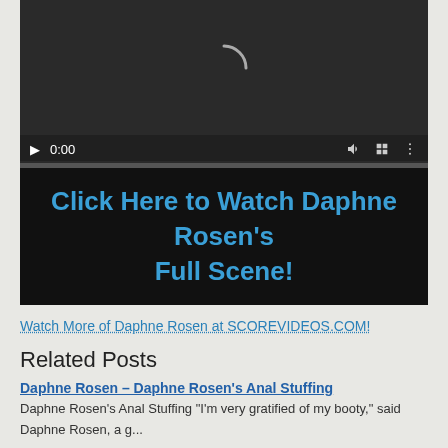[Figure (screenshot): Video player with dark background, loading spinner arc, playback controls bar showing play button, 0:00 timestamp, mute icon, fullscreen icon, options icon, and a progress bar at the bottom]
Click Here to Watch Daphne Rosen's Full Scene!
Watch More of Daphne Rosen at SCOREVIDEOS.COM!
Related Posts
Daphne Rosen – Daphne Rosen's Anal Stuffing
Daphne Rosen's Anal Stuffing "I'm very gratified of my booty," said Daphne Rosen, a g...
Daphne Rosen – Daphne Stretches A Sweater & A Cock
Daphne Stretches A Sweater & A Dick When heavy-duty sweater